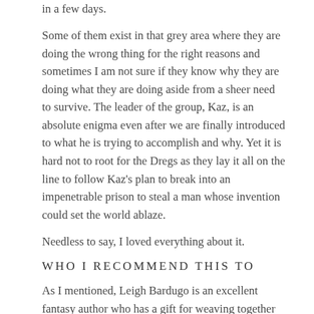in a few days.
Some of them exist in that grey area where they are doing the wrong thing for the right reasons and sometimes I am not sure if they know why they are doing what they are doing aside from a sheer need to survive. The leader of the group, Kaz, is an absolute enigma even after we are finally introduced to what he is trying to accomplish and why. Yet it is hard not to root for the Dregs as they lay it all on the line to follow Kaz's plan to break into an impenetrable prison to steal a man whose invention could set the world ablaze.
Needless to say, I loved everything about it.
WHO I RECOMMEND THIS TO
As I mentioned, Leigh Bardugo is an excellent fantasy author who has a gift for weaving together secrets of